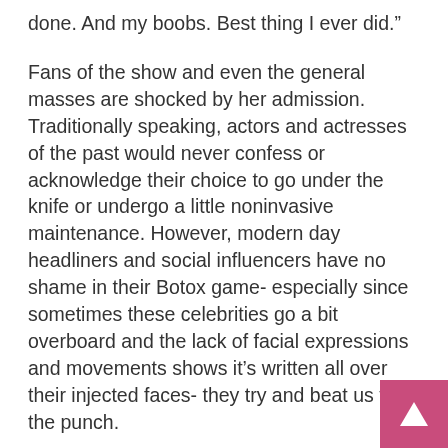done. And my boobs. Best thing I ever did.”
Fans of the show and even the general masses are shocked by her admission. Traditionally speaking, actors and actresses of the past would never confess or acknowledge their choice to go under the knife or undergo a little noninvasive maintenance. However, modern day headliners and social influencers have no shame in their Botox game- especially since sometimes these celebrities go a bit overboard and the lack of facial expressions and movements shows it’s written all over their injected faces- they try and beat us to the punch.
With plastic surgery becoming progressively common, nonexclusive to young Hollywood, why are individuals still hesitant to divulge the truth behind the work they’ve done”? Pressure to keep